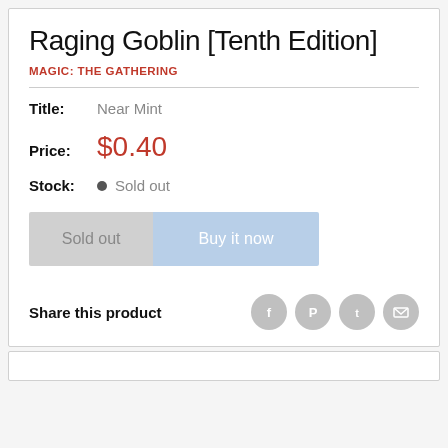Raging Goblin [Tenth Edition]
MAGIC: THE GATHERING
Title: Near Mint
Price: $0.40
Stock: Sold out
Share this product